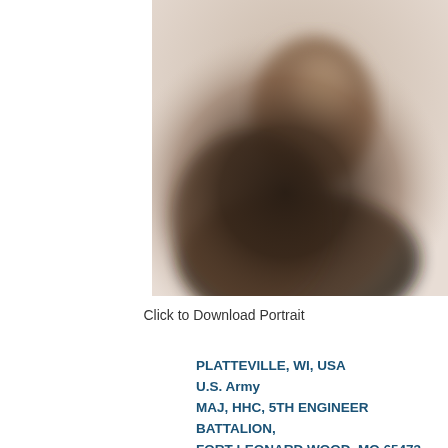[Figure (photo): Blurred/redacted portrait photograph of a military service member, shown from shoulders up with a neutral background. Image is intentionally obscured for privacy.]
Click to Download Portrait
PLATTEVILLE, WI, USA
U.S. Army
MAJ, HHC, 5TH ENGINEER BATTALION, FORT LEONARD WOOD, MO 65473
BALAD, IRAQ 12/24/2003